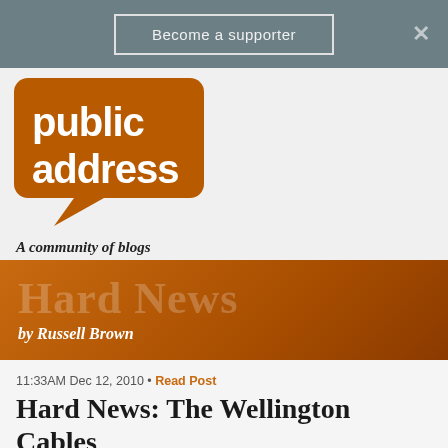Become a supporter
[Figure (logo): Public Address logo - orange speech bubble with 'public address' text in white, with tagline 'A community of blogs']
[Figure (illustration): Hard News banner - orange gradient background with large semi-transparent 'Hard News' text and 'by Russell Brown' subtitle]
11:33AM Dec 12, 2010 • Read Post
Hard News: The Wellington Cables
406 RESPONSES   Subscribe by [email] [rss]
← Older  1  2  3 4 5 … 17  Newer →